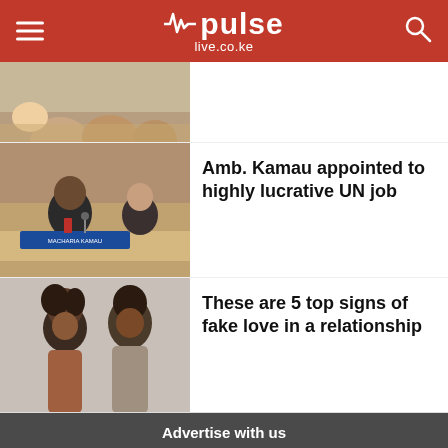pulse live.co.ke
[Figure (photo): Partial photo of people at a meeting, tops of heads and upper bodies visible]
[Figure (photo): Man in suit at a UN conference table with nameplate reading MACHARIA KAMAU]
Amb. Kamau appointed to highly lucrative UN job
[Figure (photo): A man and woman back to back, looking distressed, relationship trouble concept]
These are 5 top signs of fake love in a relationship
Advertise with us
Reach out to us at salesteam@pulse.co.ke or +254113897895 to advertise with us. Find out more about Pulse's products and advertising